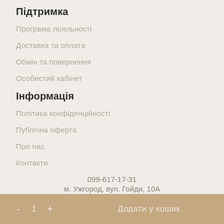Підтримка
Програма лояльності
Доставка та оплата
Обмін та повернення
Особистий кабінет
Інформація
Політика конфіденційності
Публічна оферта
Про нас
Контакти
099-617-17-31
м. Ужгород, вул. Гойди, 10А
© FLTR shop
- 1 +   Додати у кошик